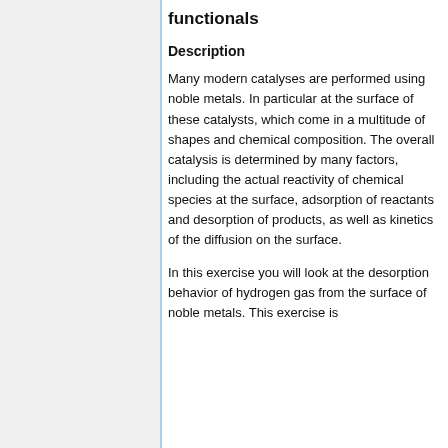functionals
Description
Many modern catalyses are performed using noble metals. In particular at the surface of these catalysts, which come in a multitude of shapes and chemical composition. The overall catalysis is determined by many factors, including the actual reactivity of chemical species at the surface, adsorption of reactants and desorption of products, as well as kinetics of the diffusion on the surface.
In this exercise you will look at the desorption behavior of hydrogen gas from the surface of noble metals. This exercise is